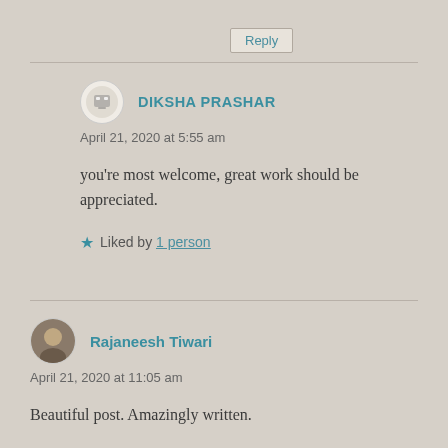Reply
DIKSHA PRASHAR
April 21, 2020 at 5:55 am
you’re most welcome, great work should be appreciated.
Liked by 1 person
Rajaneesh Tiwari
April 21, 2020 at 11:05 am
Beautiful post. Amazingly written.